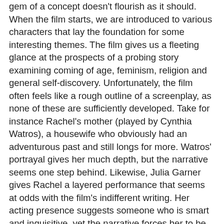gem of a concept doesn't flourish as it should. When the film starts, we are introduced to various characters that lay the foundation for some interesting themes. The film gives us a fleeting glance at the prospects of a probing story examining coming of age, feminism, religion and general self-discovery. Unfortunately, the film often feels like a rough outline of a screenplay, as none of these are sufficiently developed. Take for instance Rachel's mother (played by Cynthia Watros), a housewife who obviously had an adventurous past and still longs for more. Watros' portrayal gives her much depth, but the narrative seems one step behind. Likewise, Julia Garner gives Rachel a layered performance that seems at odds with the film's indifferent writing. Her acting presence suggests someone who is smart and inquisitive, yet the narrative forces her to be so narrow-minded. It's perhaps a case of focusing on the wrong characters then. Much of the film is dedicated to Rachel's brother, who is the one that accused of impregnating his sister. In choosing to have him accompany her on her Vegas road trip, the viewer expects significant character development. Disappointingly, his story arc is largely inconsequential.